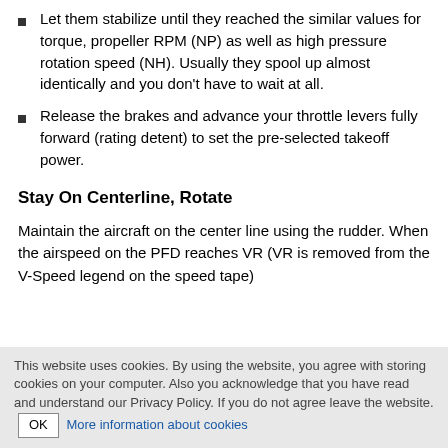Let them stabilize until they reached the similar values for torque, propeller RPM (NP) as well as high pressure rotation speed (NH). Usually they spool up almost identically and you don't have to wait at all.
Release the brakes and advance your throttle levers fully forward (rating detent) to set the pre-selected takeoff power.
Stay On Centerline, Rotate
Maintain the aircraft on the center line using the rudder. When the airspeed on the PFD reaches VR (VR is removed from the V-Speed legend on the speed tape)
This website uses cookies. By using the website, you agree with storing cookies on your computer. Also you acknowledge that you have read and understand our Privacy Policy. If you do not agree leave the website. OK More information about cookies